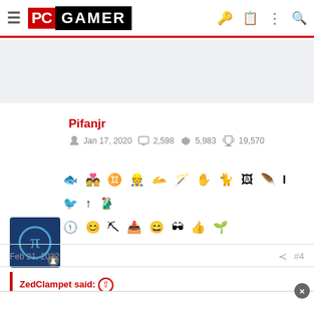PC GAMER
[Figure (screenshot): Gray banner/ad placeholder area]
Pifanjr
Jan 17, 2020   2,598   5,983   19,570
[Figure (infographic): Row of user achievement/badge icons]
Feb 21, 2022
#4
ZedClampet said: ↑